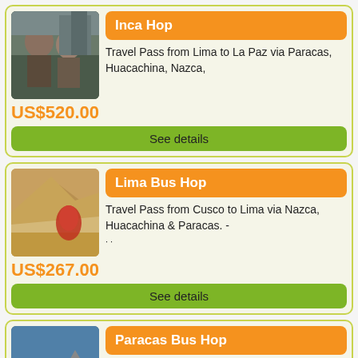Inca Hop
Travel Pass from Lima to La Paz via Paracas, Huacachina, Nazca,
US$520.00
See details
Lima Bus Hop
Travel Pass from Cusco to Lima via Nazca, Huacachina & Paracas. -
US$267.00
See details
Paracas Bus Hop
Travel Pass from Lima to Paracas and back to Lima. For one or two...